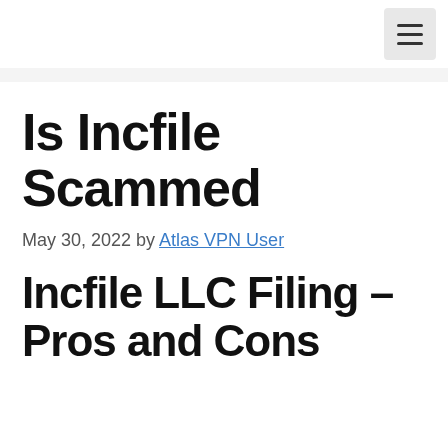≡
Is Incfile Scammed
May 30, 2022 by Atlas VPN User
Incfile LLC Filing – Pros and Cons